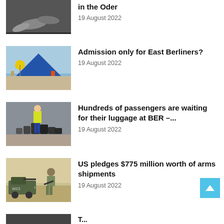[Figure (photo): Dead fish or seals on riverbank - Oder river pollution story]
in the Oder
19 August 2022
[Figure (photo): Festival or outdoor market with pyramid tent structure, Berlin]
Admission only for East Berliners?
19 August 2022
[Figure (photo): Airport worker in yellow vest standing among piles of luggage at BER airport]
Hundreds of passengers are waiting for their luggage at BER –...
19 August 2022
[Figure (photo): US soldier with military vehicle W23 in desert - arms shipment story]
US pledges $775 million worth of arms shipments
19 August 2022
[Figure (photo): Partial image at bottom of page - Tunisia story]